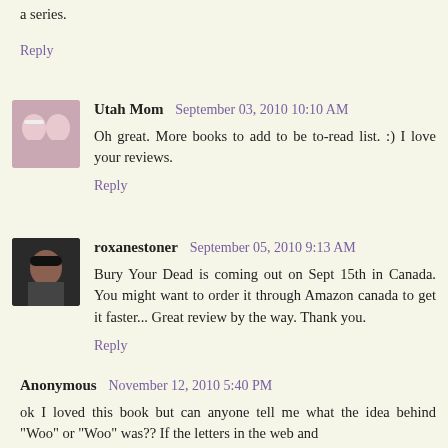a series.
Reply
Utah Mom  September 03, 2010 10:10 AM
Oh great. More books to add to be to-read list. :) I love your reviews.
Reply
roxanestoner  September 05, 2010 9:13 AM
Bury Your Dead is coming out on Sept 15th in Canada. You might want to order it through Amazon canada to get it faster... Great review by the way. Thank you.
Reply
Anonymous  November 12, 2010 5:40 PM
ok I loved this book but can anyone tell me what the idea behind "Woo" or "Woo" was?? If the letters in the web and